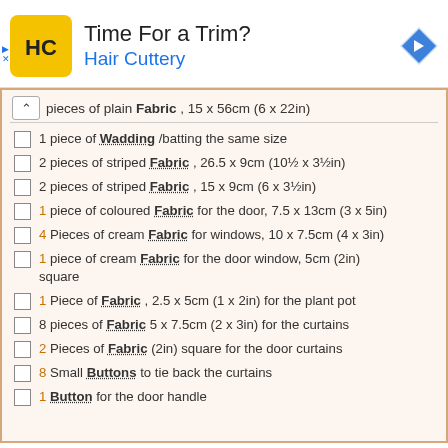[Figure (other): Hair Cuttery advertisement banner with logo, headline 'Time For a Trim?', subline 'Hair Cuttery', and a blue navigation arrow icon.]
pieces of plain Fabric , 15 x 56cm (6 x 22in)
1 piece of Wadding /batting the same size
2 pieces of striped Fabric , 26.5 x 9cm (10½ x 3½in)
2 pieces of striped Fabric , 15 x 9cm (6 x 3½in)
1 piece of coloured Fabric for the door, 7.5 x 13cm (3 x 5in)
4 Pieces of cream Fabric for windows, 10 x 7.5cm (4 x 3in)
1 piece of cream Fabric for the door window, 5cm (2in) square
1 Piece of Fabric , 2.5 x 5cm (1 x 2in) for the plant pot
8 pieces of Fabric 5 x 7.5cm (2 x 3in) for the curtains
2 Pieces of Fabric (2in) square for the door curtains
8 Small Buttons to tie back the curtains
1 Button for the door handle